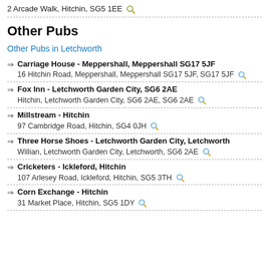2 Arcade Walk, Hitchin, SG5 1EE
Other Pubs
Other Pubs in Letchworth
Carriage House - Meppershall, Meppershall SG17 5JF
16 Hitchin Road, Meppershall, Meppershall SG17 5JF, SG17 5JF
Fox Inn - Letchworth Garden City, SG6 2AE
Hitchin, Letchworth Garden City, SG6 2AE, SG6 2AE
Millstream - Hitchin
97 Cambridge Road, Hitchin, SG4 0JH
Three Horse Shoes - Letchworth Garden City, Letchworth
Willian, Letchworth Garden City, Letchworth, SG6 2AE
Cricketers - Ickleford, Hitchin
107 Arlesey Road, Ickleford, Hitchin, SG5 3TH
Corn Exchange - Hitchin
31 Market Place, Hitchin, SG5 1DY